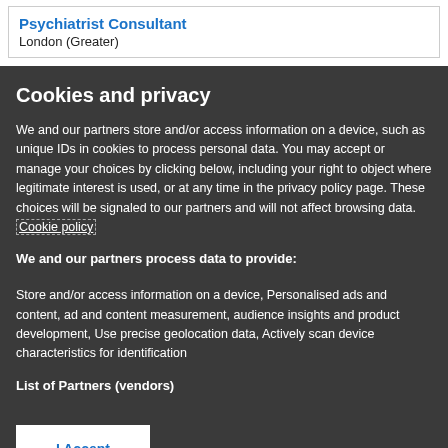Psychiatrist Consultant
London (Greater)
Cookies and privacy
We and our partners store and/or access information on a device, such as unique IDs in cookies to process personal data. You may accept or manage your choices by clicking below, including your right to object where legitimate interest is used, or at any time in the privacy policy page. These choices will be signaled to our partners and will not affect browsing data. Cookie policy
We and our partners process data to provide:
Store and/or access information on a device, Personalised ads and content, ad and content measurement, audience insights and product development, Use precise geolocation data, Actively scan device characteristics for identification
List of Partners (vendors)
I Accept